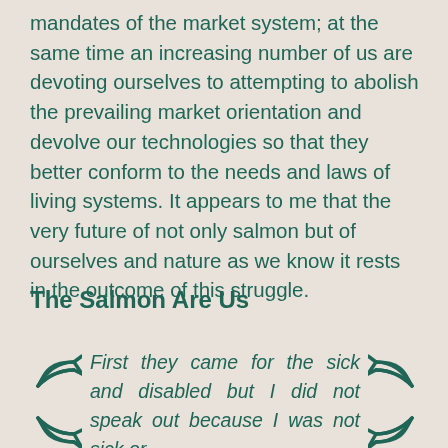mandates of the market system; at the same time an increasing number of us are devoting ourselves to attempting to abolish the prevailing market orientation and devolve our technologies so that they better conform to the needs and laws of living systems. It appears to me that the very future of not only salmon but of ourselves and nature as we know it rests in the outcome of this struggle.
The Salmon Are Us
First they came for the sick and disabled but I did not speak out because I was not sick or